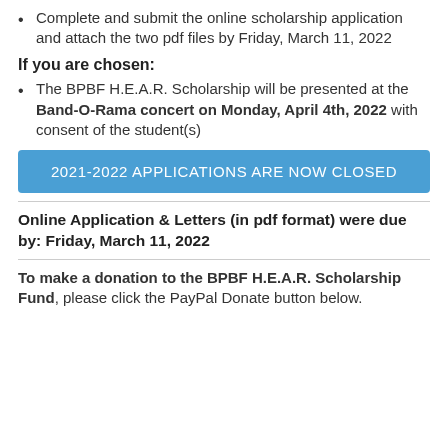Complete and submit the online scholarship application and attach the two pdf files by Friday, March 11, 2022
If you are chosen:
The BPBF H.E.A.R. Scholarship will be presented at the Band-O-Rama concert on Monday, April 4th, 2022 with consent of the student(s)
2021-2022 APPLICATIONS ARE NOW CLOSED
Online Application & Letters (in pdf format) were due by: Friday, March 11, 2022
To make a donation to the BPBF H.E.A.R. Scholarship Fund, please click the PayPal Donate button below.